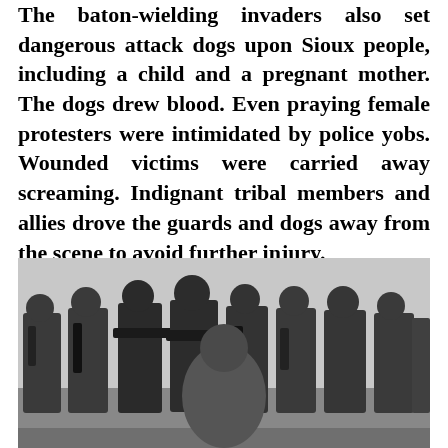The baton-wielding invaders also set dangerous attack dogs upon Sioux people, including a child and a pregnant mother. The dogs drew blood. Even praying female protesters were intimidated by police yobs. Wounded victims were carried away screaming. Indignant tribal members and allies drove the guards and dogs away from the scene to avoid further injury.
[Figure (photo): Black and white photograph showing a line of riot police officers in helmets and tactical gear holding batons and weapons, facing a person with their back to the camera who appears to be praying or kneeling before them. The scene is outdoors on open ground.]